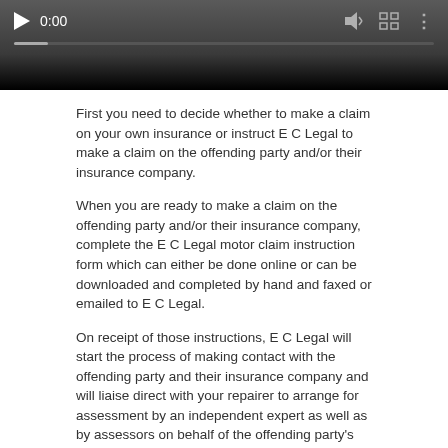[Figure (screenshot): Video player UI with play button, 0:00 timestamp, volume icon, fullscreen icon, more options icon, and a progress bar]
First you need to decide whether to make a claim on your own insurance or instruct E C Legal to make a claim on the offending party and/or their insurance company.
When you are ready to make a claim on the offending party and/or their insurance company, complete the E C Legal motor claim instruction form which can either be done online or can be downloaded and completed by hand and faxed or emailed to E C Legal.
On receipt of those instructions, E C Legal will start the process of making contact with the offending party and their insurance company and will liaise direct with your repairer to arrange for assessment by an independent expert as well as by assessors on behalf of the offending party's insurance company.
Usually, liability for your damages is admitted by the